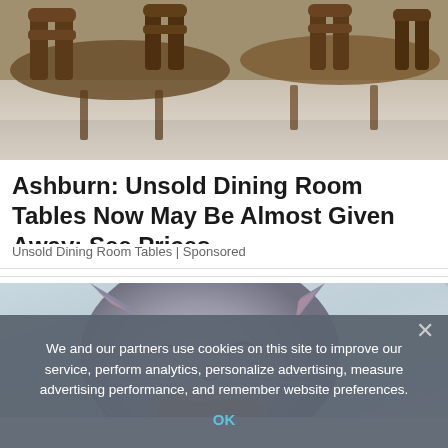[Figure (photo): Wooden dining chairs and tables in a restaurant setting, viewed from above at an angle]
Ashburn: Unsold Dining Room Tables Now May Be Almost Given Away: See Prices
Unsold Dining Room Tables | Sponsored
[Figure (photo): Close-up of a grey British Shorthair cat with eyes closed being held under the chin by a human finger, blurred background]
We and our partners use cookies on this site to improve our service, perform analytics, personalize advertising, measure advertising performance, and remember website preferences.
OK